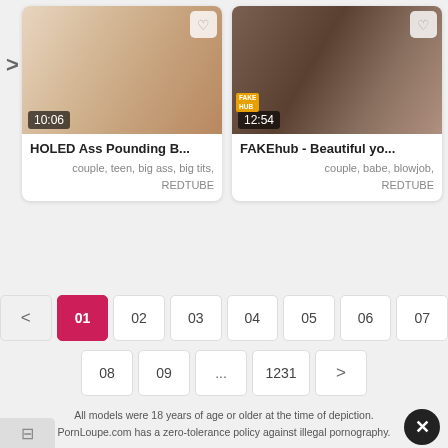[Figure (screenshot): Video thumbnail for 'HOLED Ass Pounding B...' with duration 10:06 and heart button]
HOLED Ass Pounding B...
couple, teen, big ass, big tits,
REDTUBE
[Figure (screenshot): Video thumbnail for 'FAKEhub - Beautiful yo...' with duration 12:54 and heart button]
FAKEhub - Beautiful yo...
couple, babe, blowjob,
REDTUBE
< 01 02 03 04 05 06 07 08 09 ... 1231 >
All models were 18 years of age or older at the time of depiction.
PornLoupe.com has a zero-tolerance policy against illegal pornography.
PARENTAL CONTROLBAR   CONTACT US   TERMS   DMCA
© 2022 PornLoupe.com. All rights reserved.